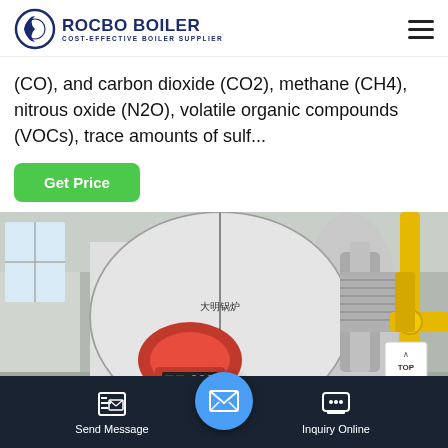[Figure (logo): Rocbo Boiler logo with circular arc icon and text 'ROCBO BOILER / COST-EFFECTIVE BOILER SUPPLIER']
(CO), and carbon dioxide (CO2), methane (CH4), nitrous oxide (N2O), volatile organic compounds (VOCs), trace amounts of sulf...
Get Price
[Figure (photo): Industrial gas boiler in a factory setting with a red burner mounted on the front of a large cylindrical boiler, yellow gas pipes visible on the right]
Send Message
Inquiry Online